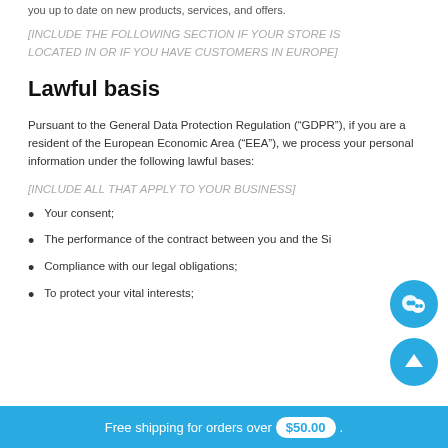you up to date on new products, services, and offers.
[INCLUDE THE FOLLOWING SECTION IF YOUR STORE IS LOCATED IN OR IF YOU HAVE CUSTOMERS IN EUROPE]
Lawful basis
Pursuant to the General Data Protection Regulation (“GDPR”), if you are a resident of the European Economic Area (“EEA”), we process your personal information under the following lawful bases:
[INCLUDE ALL THAT APPLY TO YOUR BUSINESS]
Your consent;
The performance of the contract between you and the Si
Compliance with our legal obligations;
To protect your vital interests;
Free shipping for orders over $50.00 .